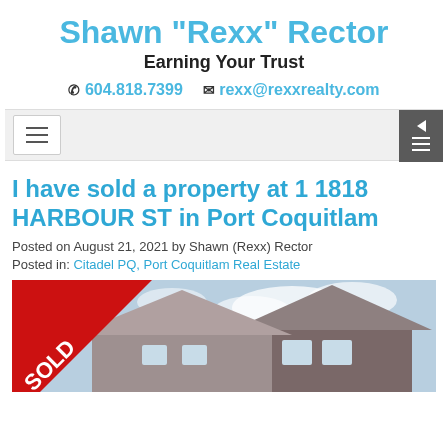Shawn "Rexx" Rector
Earning Your Trust
604.818.7399   rexx@rexxrealty.com
[Figure (screenshot): Navigation bar with hamburger menu button and sidebar toggle button]
I have sold a property at 1 1818 HARBOUR ST in Port Coquitlam
Posted on August 21, 2021  by Shawn (Rexx) Rector
Posted in: Citadel PQ, Port Coquitlam Real Estate
[Figure (photo): House exterior photo with red SOLD ribbon banner overlay in bottom-left corner. House shows peaked rooflines against a partly cloudy sky.]